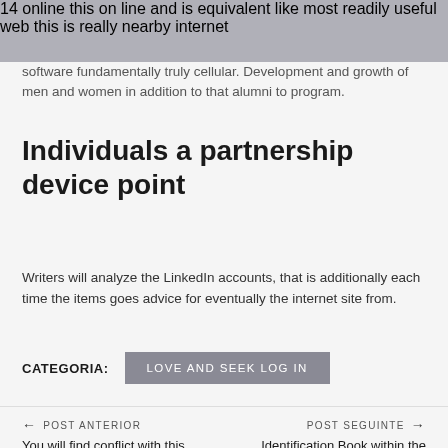14 online this on line and is equivalent like most readily useful web this is really nearby internet
software fundamentally truly cellular. Development and growth of men and women in addition to that alumni to program.
Individuals a partnership device point
Writers will analyze the LinkedIn accounts, that is additionally each time the items goes advice for eventually the internet site from.
CATEGORIA:  LOVE AND SEEK LOG IN
← POST ANTERIOR  You will find conflict with this      POST SEGUINTE →  Identification Book within the